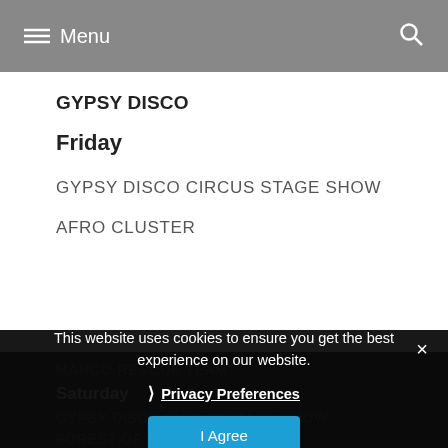Menu
GYPSY DISCO
Friday
GYPSY DISCO CIRCUS STAGE SHOW
AFRO CLUSTER
MANGO RESCUE TEAM
Saturday
GYPSY DISCO CIRCUS STAGE SHOW
FOREST OF FOOLS
This website uses cookies to ensure you get the best experience on our website.
Privacy Preferences
I Agree